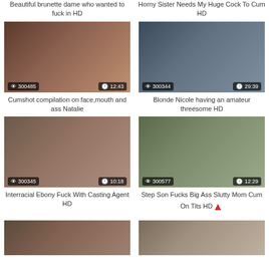Beautiful brunette dame who wanted to fuck in HD
Horny Sister Needs My Huge Cock To Cum HD
[Figure (photo): Video thumbnail with views 300485 and duration 12:43]
Cumshot compilation on face,mouth and ass Natalie
[Figure (photo): Video thumbnail with views 300344 and duration 29:39]
Blonde Nicole having an amateur threesome HD
[Figure (photo): Video thumbnail with views 300345 and duration 10:18]
Interracial Ebony Fuck With Casting Agent HD
[Figure (photo): Video thumbnail with views 300577 and duration 12:29]
Step Son Fucks Big Ass Slutty Mom Cum On Tits HD
[Figure (photo): Bottom left video thumbnail]
[Figure (photo): Bottom right video thumbnail]